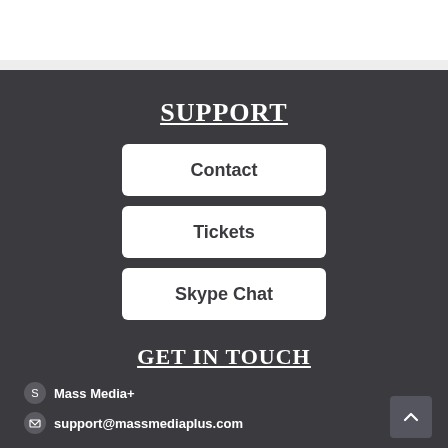SUPPORT
Contact
Tickets
Skype Chat
GET IN TOUCH
Mass Media+
support@massmediaplus.com